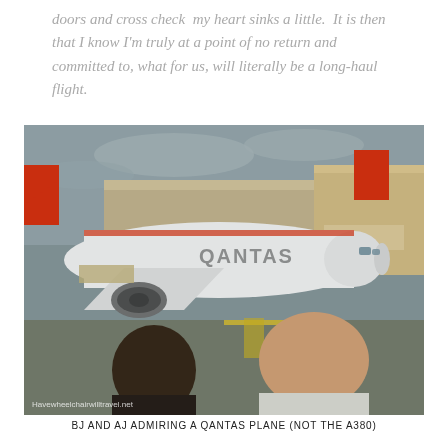doors and cross check  my heart sinks a little.  It is then that I know I'm truly at a point of no return and committed to, what for us, will literally be a long-haul flight.
[Figure (photo): Two children seen from behind looking through a glass window at a Qantas airplane parked at an airport gate. The plane has 'QANTAS' written on its fuselage. The scene is overcast. A watermark reads 'Havewheelchairwilltravel.net'.]
BJ AND AJ ADMIRING A QANTAS PLANE (NOT THE A380)